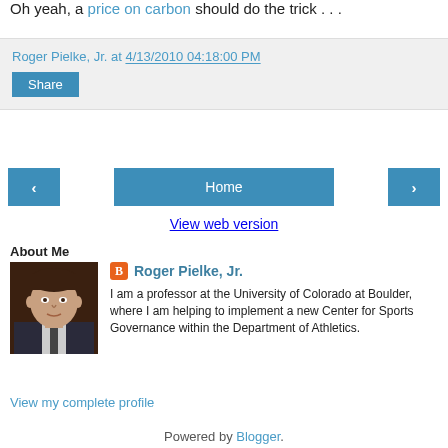Oh yeah, a price on carbon should do the trick . . .
Roger Pielke, Jr. at 4/13/2010 04:18:00 PM
Share
‹
Home
›
View web version
About Me
Roger Pielke, Jr.
I am a professor at the University of Colorado at Boulder, where I am helping to implement a new Center for Sports Governance within the Department of Athletics.
View my complete profile
Powered by Blogger.